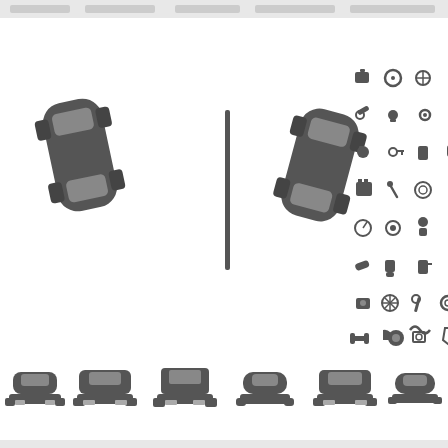[Figure (illustration): Collection of automotive icons: two top-view cars with parking divider on left side, grid of automotive parts/tools icons on right side, multiple rows of front-view car silhouettes in various styles including sedans, SUVs, hatchbacks, trucks, and convertibles]
automotive icons set